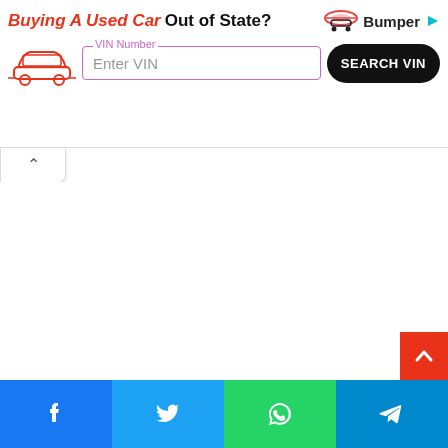[Figure (infographic): Bumper advertisement banner: 'Buying A Used Car Out of State?' with VIN number input field and SEARCH VIN button, Bumper logo with car icon]
[Figure (infographic): Collapse/hide arrow tab button (caret up)]
[Figure (infographic): Red scroll-to-top button with caret/arrow up icon on right side]
[Figure (infographic): Social sharing bar at bottom with Facebook, Twitter, WhatsApp, and Telegram share buttons]